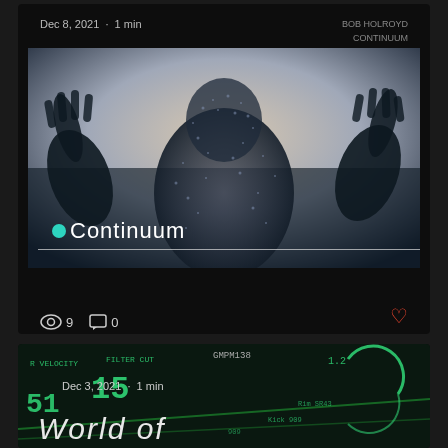[Figure (screenshot): Blog/podcast post card with dark background. Shows date 'Dec 8, 2021 · 1 min', album label 'BOB HOLROYD / CONTINUUM', a large atmospheric photo of a silhouetted person with hands outstretched touching a glass surface covered in particles, title 'Continuum' overlaid, view count 9, comment count 0, and a heart icon.]
[Figure (screenshot): Partial blog/podcast post card with dark background showing synthesizer/music production software interface. Date 'Dec 3, 2021 · 1 min' and partial title 'World of' visible. Green tech/MIDI labels visible: VELOCITY, FILTER CUT, GMPM138, 15, 51, 1.2.]